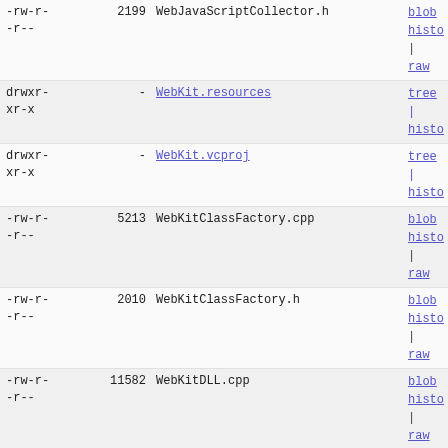-rw-r--r--  2199  WebJavaScriptCollector.h  blob | histo | raw
drwxr-xr-x  -  WebKit.resources  tree | histo
drwxr-xr-x  -  WebKit.vcproj  tree | histo
-rw-r--r--  5213  WebKitClassFactory.cpp  blob | histo | raw
-rw-r--r--  2010  WebKitClassFactory.h  blob | histo | raw
-rw-r--r--  11582  WebKitDLL.cpp  blob | histo | raw
-rw-r--r--  1792  WebKitDLL.h  blob | histo | raw
-rw-r--r--  4871  WebKitGraphics.cpp  blob | histo | raw
-rw-r--r--  2788  WebKitGraphics.h  blob | histo | raw
-rw-r--r--  6153  WebKitLogging.cpp  blob | histo | raw
-rw-r--r--  2850  WebKitLogging.h  blob | histo | raw
-rw-r--r--  3925  WebKitStatistics.cpp  blob | histo | raw
-rw-r--r--  2709  WebKitStatistics.h  blob